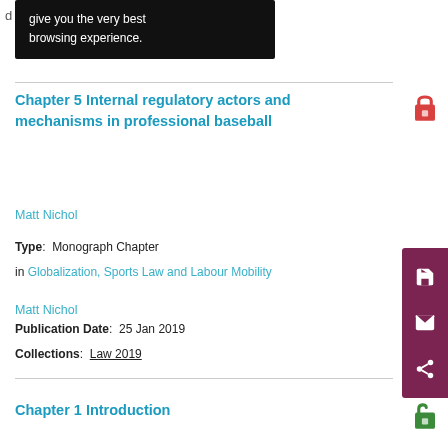give you the very best browsing experience.
Chapter 5 Internal regulatory actors and mechanisms in professional baseball
Matt Nichol
Type: Monograph Chapter
in Globalization, Sports Law and Labour Mobility
Matt Nichol
Publication Date: 25 Jan 2019
Collections: Law 2019
Chapter 1 Introduction